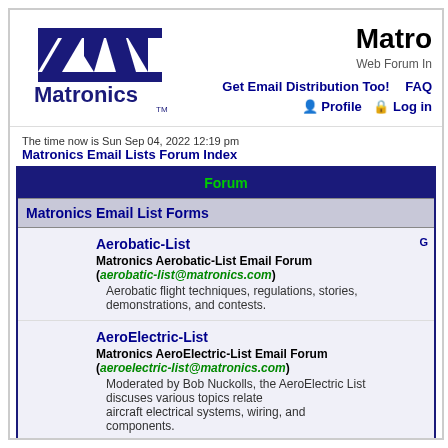[Figure (logo): Matronics logo with stylized NZN airplane graphic and 'Matronics TM' text in dark blue]
Matronics
Web Forum Index
Get Email Distribution Too!   FAQ   Profile   Log in
The time now is Sun Sep 04, 2022 12:19 pm
Matronics Email Lists Forum Index
| Forum |
| --- |
| Matronics Email List Forms |
| Aerobatic-List
Matronics Aerobatic-List Email Forum (aerobatic-list@matronics.com)
Aerobatic flight techniques, regulations, stories, demonstrations, and contests. |
| AeroElectric-List
Matronics AeroElectric-List Email Forum (aeroelectric-list@matronics.com)
Moderated by Bob Nuckolls, the AeroElectric List discuses various topics related to aircraft electrical systems, wiring, and components. |
| Allegro-List
Matronics Allegro-List Email Forum (allegro-list@matronics.com)
Allegro 2000 aircraft discussion forum. Topics include everyting related to this Ca built, Rotax powered aircarft. |